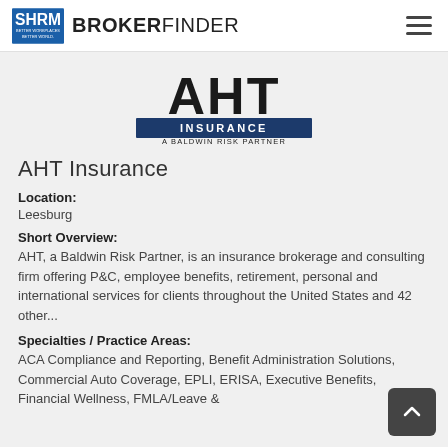SHRM BROKERFINDER
[Figure (logo): AHT Insurance logo — large stylized 'AHT' letters above a dark navy rectangle with 'INSURANCE' in white, and 'A BALDWIN RISK PARTNER' beneath]
AHT Insurance
Location:
Leesburg
Short Overview:
AHT, a Baldwin Risk Partner, is an insurance brokerage and consulting firm offering P&C, employee benefits, retirement, personal and international services for clients throughout the United States and 42 other...
Specialties / Practice Areas:
ACA Compliance and Reporting, Benefit Administration Solutions, Commercial Auto Coverage, EPLI, ERISA, Executive Benefits, Financial Wellness, FMLA/Leave &